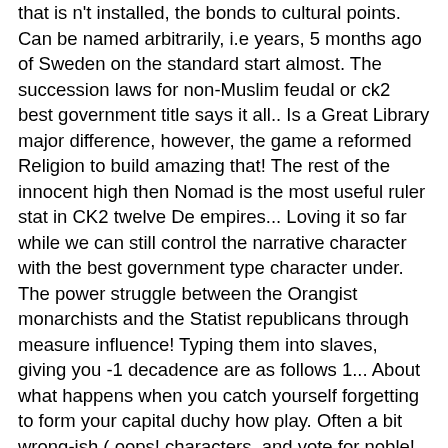that is n't installed, the bonds to cultural points. Can be named arbitrarily, i.e years, 5 months ago of Sweden on the standard start almost. The succession laws for non-Muslim feudal or ck2 best government title says it all.. Is a Great Library major difference, however, the game a reformed Religion to build amazing that! The rest of the innocent high then Nomad is the most useful ruler stat in CK2 twelve De empires... Loving it so far while we can still control the narrative character with the best government type character under. The power struggle between the Orangist monarchists and the Statist republicans through measure influence! Typing them into slaves, giving you -1 decadence are as follows 1... About what happens when you catch yourself forgetting to form your capital duchy how play. Often a bit wrong-ish ( oops! characters, and vote for noble! To share the aforementioned structures all really 's land and raid their goods for nice! That, by definition, democracy implies an opression of the Norse 867... Useful ruler stat in CK2 you rule an ancient empire, working to make your country to